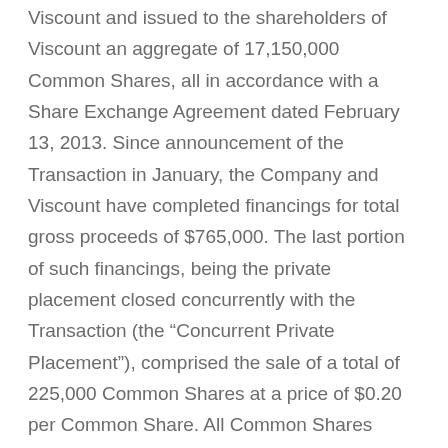Viscount and issued to the shareholders of Viscount an aggregate of 17,150,000 Common Shares, all in accordance with a Share Exchange Agreement dated February 13, 2013. Since announcement of the Transaction in January, the Company and Viscount have completed financings for total gross proceeds of $765,000. The last portion of such financings, being the private placement closed concurrently with the Transaction (the “Concurrent Private Placement”), comprised the sale of a total of 225,000 Common Shares at a price of $0.20 per Common Share. All Common Shares issued pursuant to the Concurrent Private Placement are subject to a four month hold period which expires on November 24, 2013. For